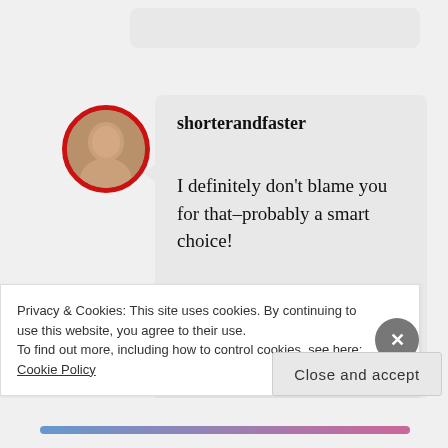[Figure (screenshot): Partial comment bubble at top of page (cropped)]
[Figure (photo): Circular profile photo of a woman with red border, username shorterandfaster]
shorterandfaster
I definitely don’t blame you for that–probably a smart choice!
JANUARY 14, 2018 AT 8:38 PM
REPLY
Privacy & Cookies: This site uses cookies. By continuing to use this website, you agree to their use.
To find out more, including how to control cookies, see here: Cookie Policy
Close and accept